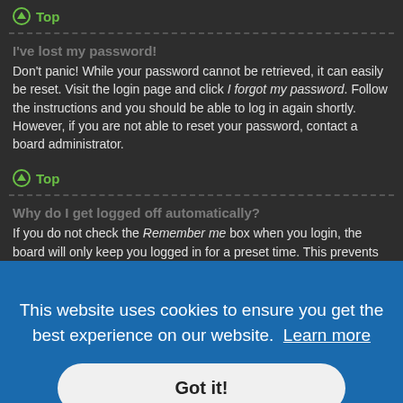Top
I've lost my password!
Don't panic! While your password cannot be retrieved, it can easily be reset. Visit the login page and click I forgot my password. Follow the instructions and you should be able to log in again shortly.
However, if you are not able to reset your password, contact a board administrator.
Top
Why do I get logged off automatically?
If you do not check the Remember me box when you login, the board will only keep you logged in for a preset time. This prevents misuse of your account by anyone else. To stay logged in, check the Remember me box during login. This is not recommended if you access the board from a shared computer, e.g.
This website uses cookies to ensure you get the best experience on our website. Learn more
Got it!
s such as read tracking if they have been enabled by a board administrator. If you are